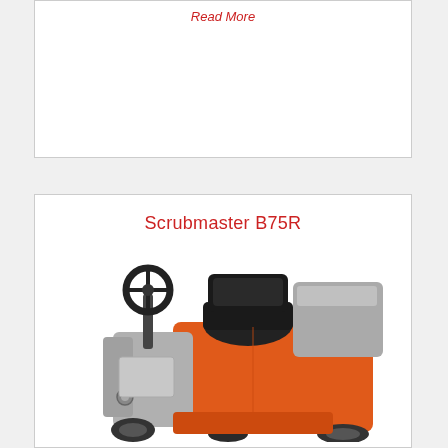Read More
[Figure (photo): White empty card area below a Read More link]
Scrubmaster B75R
[Figure (photo): Photo of a Hako Scrubmaster B75R ride-on floor scrubbing machine in orange and grey with a black seat and steering wheel]